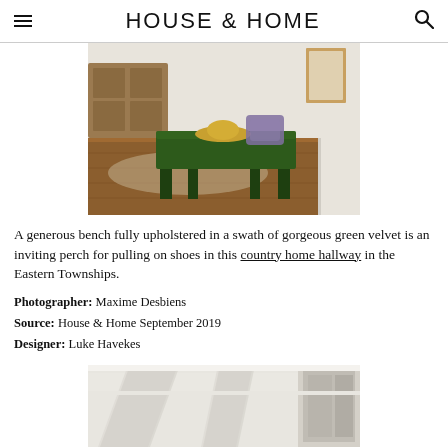HOUSE & HOME
[Figure (photo): A green velvet upholstered bench in a hallway with hardwood floors, a straw hat and pillow resting on top, wooden furniture and framed art visible in background]
A generous bench fully upholstered in a swath of gorgeous green velvet is an inviting perch for pulling on shoes in this country home hallway in the Eastern Townships.
Photographer: Maxime Desbiens
Source: House & Home September 2019
Designer: Luke Havekes
[Figure (photo): White interior room with ceiling beams and architectural details, partial view of a window]